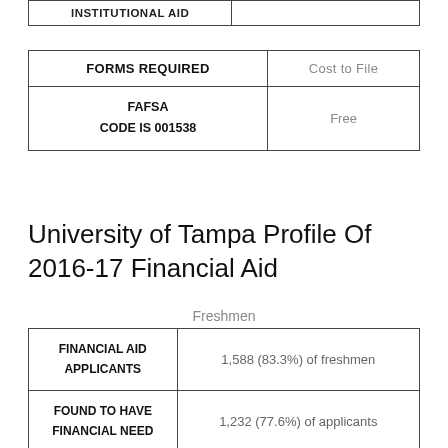| INSTITUTIONAL AID |  |
| --- | --- |
| FORMS REQUIRED | Cost to File |
| --- | --- |
| FAFSA
CODE IS 001538 | Free |
University of Tampa Profile Of 2016-17 Financial Aid
Freshmen
| FINANCIAL AID
APPLICANTS | 1,588 (83.3%) of freshmen |
| FOUND TO HAVE
FINANCIAL NEED | 1,232 (77.6%) of applicants |